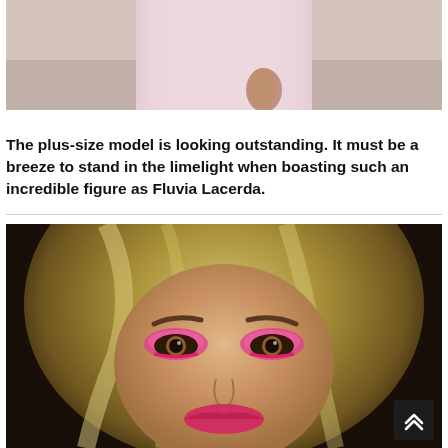[Figure (photo): A pink/light dress photo showing the lower body of a plus-size model wearing a form-fitting pink dress with a slit, standing against a beige wall.]
The plus-size model is looking outstanding. It must be a breeze to stand in the limelight when boasting such an incredible figure as Fluvia Lacerda.
[Figure (photo): Close-up selfie of a blonde woman (Fluvia Lacerda) with dramatic pink eyeshadow and eye makeup, looking directly at the camera.]